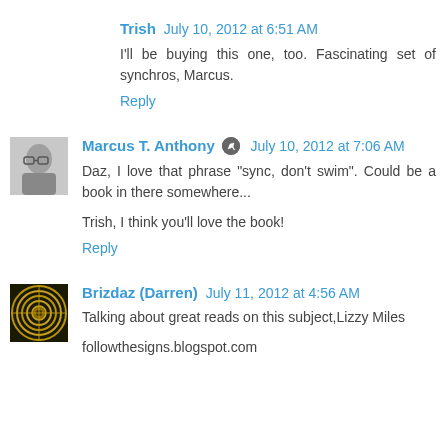Trish July 10, 2012 at 6:51 AM
I'll be buying this one, too. Fascinating set of synchros, Marcus.
Reply
Marcus T. Anthony July 10, 2012 at 7:06 AM
Daz, I love that phrase "sync, don't swim". Could be a book in there somewhere...
Trish, I think you'll love the book!
Reply
Brizdaz (Darren) July 11, 2012 at 4:56 AM
Talking about great reads on this subject,Lizzy Miles
followthesigns.blogspot.com